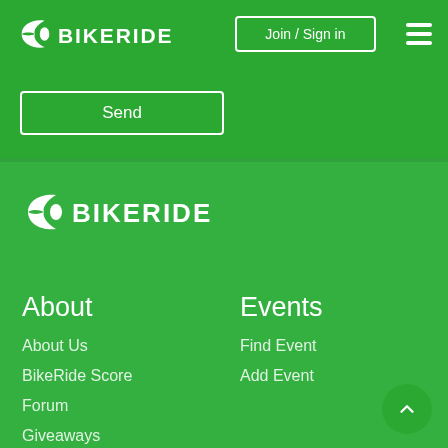BIKERIDE — Join / Sign in
Send
[Figure (logo): BikeRide logo with wing icon and BIKERIDE text in white, footer version]
About
Events
About Us
Find Event
BikeRide Score
Add Event
Forum
Giveaways
Advertising
Contact